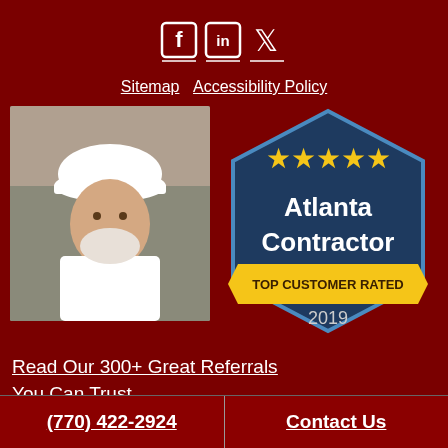[Figure (logo): Social media icons: Facebook, LinkedIn, Twitter in white on dark red background]
Sitemap  Accessibility Policy
[Figure (photo): Man wearing white hard hat and white shirt, construction worker or contractor]
[Figure (logo): Atlanta Contractor badge: dark blue hexagon with 5 gold stars, text 'Atlanta Contractor', gold ribbon 'TOP CUSTOMER RATED', '2019']
Read Our 300+ Great Referrals You Can Trust
[Figure (logo): Atlanta Contractor badge partial: dark blue hexagon with 5 gold stars and 'Atlanta Contractor' text]
[Figure (logo): Atlanta Contractor badge partial: dark blue hexagon with 5 gold stars and 'Atlanta Contractor' text]
[Figure (logo): reCAPTCHA logo partial]
(770) 422-2924   Contact Us